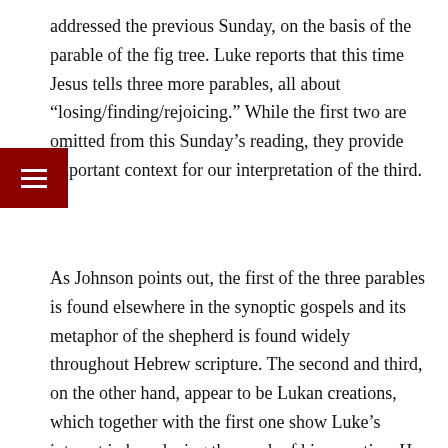addressed the previous Sunday, on the basis of the parable of the fig tree. Luke reports that this time Jesus tells three more parables, all about “losing/finding/rejoicing.” While the first two are omitted from this Sunday’s reading, they provide important context for our interpretation of the third.
As Johnson points out, the first of the three parables is found elsewhere in the synoptic gospels and its metaphor of the shepherd is found widely throughout Hebrew scripture. The second and third, on the other hand, appear to be Lukan creations, which together with the first one show Luke’s interest in broadening the reach of his narrative. He balances the male shepherd with a woman, for instance, a lost animal with a lost coin, the wilderness